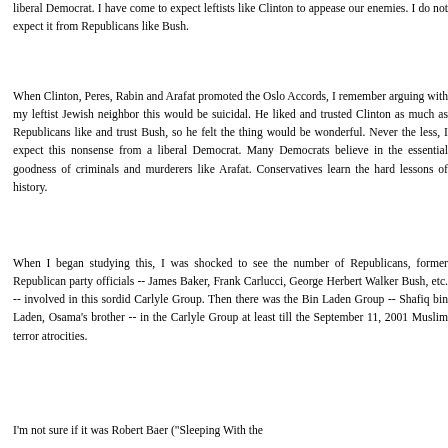liberal Democrat. I have come to expect leftists like Clinton to appease our enemies. I do not expect it from Republicans like Bush.
When Clinton, Peres, Rabin and Arafat promoted the Oslo Accords, I remember arguing with my leftist Jewish neighbor this would be suicidal. He liked and trusted Clinton as much as Republicans like and trust Bush, so he felt the thing would be wonderful. Never the less, I expect this nonsense from a liberal Democrat. Many Democrats believe in the essential goodness of criminals and murderers like Arafat. Conservatives learn the hard lessons of history.
When I began studying this, I was shocked to see the number of Republicans, former Republican party officials -- James Baker, Frank Carlucci, George Herbert Walker Bush, etc. -- involved in this sordid Carlyle Group. Then there was the Bin Laden Group -- Shafiq bin Laden, Osama's brother -- in the Carlyle Group at least till the September 11, 2001 Muslim terror atrocities.
I'm not sure if it was Robert Baer ("Sleeping With the